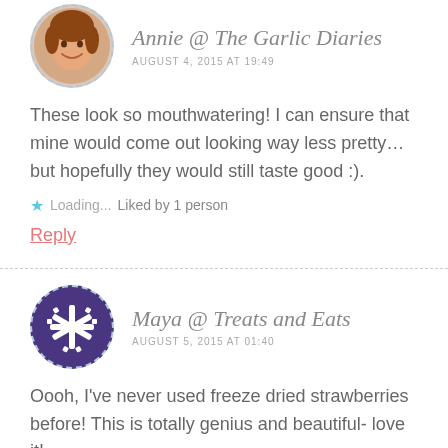[Figure (photo): Round avatar photo of Annie, a woman with a warm smile]
Annie @ The Garlic Diaries
AUGUST 4, 2015 AT 19:49
These look so mouthwatering! I can ensure that mine would come out looking way less pretty…but hopefully they would still taste good :).
Liked by 1 person
Reply
[Figure (illustration): Round avatar with purple snowflake pattern for Maya @ Treats and Eats]
Maya @ Treats and Eats
AUGUST 5, 2015 AT 01:40
Oooh, I've never used freeze dried strawberries before! This is totally genius and beautiful- love it!